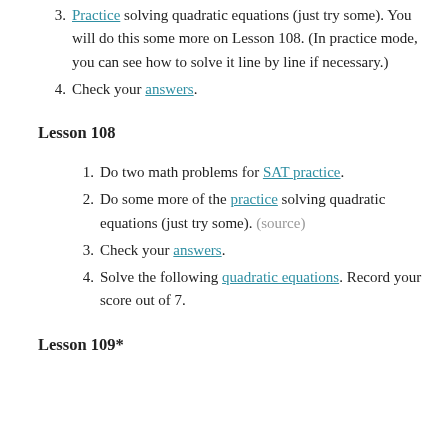3. Practice solving quadratic equations (just try some). You will do this some more on Lesson 108. (In practice mode, you can see how to solve it line by line if necessary.)
4. Check your answers.
Lesson 108
1. Do two math problems for SAT practice.
2. Do some more of the practice solving quadratic equations (just try some). (source)
3. Check your answers.
4. Solve the following quadratic equations. Record your score out of 7.
Lesson 109*